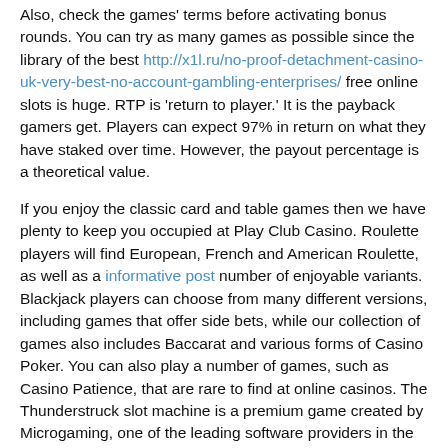Also, check the games' terms before activating bonus rounds. You can try as many games as possible since the library of the best http://x1l.ru/no-proof-detachment-casino-uk-very-best-no-account-gambling-enterprises/ free online slots is huge. RTP is 'return to player.' It is the payback gamers get. Players can expect 97% in return on what they have staked over time. However, the payout percentage is a theoretical value.
If you enjoy the classic card and table games then we have plenty to keep you occupied at Play Club Casino. Roulette players will find European, French and American Roulette, as well as a informative post number of enjoyable variants. Blackjack players can choose from many different versions, including games that offer side bets, while our collection of games also includes Baccarat and various forms of Casino Poker. You can also play a number of games, such as Casino Patience, that are rare to find at online casinos. The Thunderstruck slot machine is a premium game created by Microgaming, one of the leading software providers in the online gambling industry. The slot is inspired by stories of Nordic gods and goddesses and, if you're a fan of Loki, now is your chance to see a different version of this character.
Play Thunderstruck 2 Slots